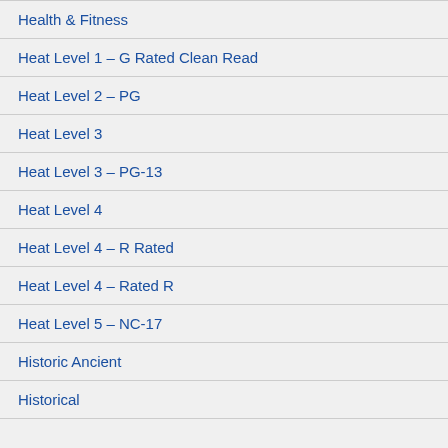Health & Fitness
Heat Level 1 – G Rated Clean Read
Heat Level 2 – PG
Heat Level 3
Heat Level 3 – PG-13
Heat Level 4
Heat Level 4 – R Rated
Heat Level 4 – Rated R
Heat Level 5 – NC-17
Historic Ancient
Historical